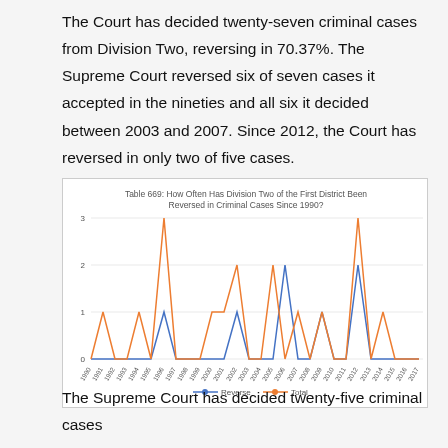The Court has decided twenty-seven criminal cases from Division Two, reversing in 70.37%. The Supreme Court reversed six of seven cases it accepted in the nineties and all six it decided between 2003 and 2007. Since 2012, the Court has reversed in only two of five cases.
[Figure (line-chart): Table 669: How Often Has Division Two of the First District Been Reversed in Criminal Cases Since 1990?]
The Supreme Court has decided twenty-five criminal cases